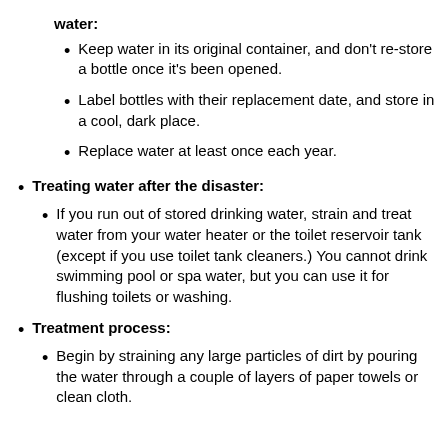water:
Keep water in its original container, and don't re-store a bottle once it's been opened.
Label bottles with their replacement date, and store in a cool, dark place.
Replace water at least once each year.
Treating water after the disaster:
If you run out of stored drinking water, strain and treat water from your water heater or the toilet reservoir tank (except if you use toilet tank cleaners.) You cannot drink swimming pool or spa water, but you can use it for flushing toilets or washing.
Treatment process:
Begin by straining any large particles of dirt by pouring the water through a couple of layers of paper towels or clean cloth.